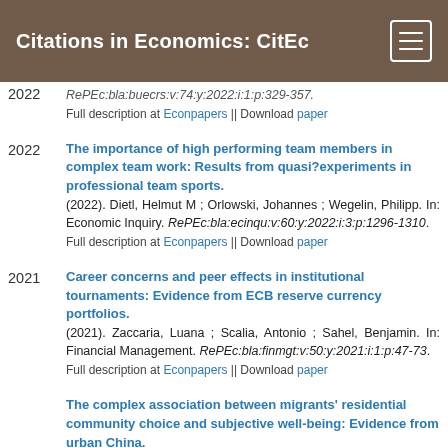Citations in Economics: CitEc
2022 — RePEc:bla:buecrs:v:74:y:2022:i:1:p:329-357. Full description at Econpapers || Download paper
The importance of high performing team members in complex team work: Results from quasi?experiments in professional team sports. (2022). Dietl, Helmut M ; Orlowski, Johannes ; Wegelin, Philipp. In: Economic Inquiry. RePEc:bla:ecinqu:v:60:y:2022:i:3:p:1296-1310. Full description at Econpapers || Download paper
Career concerns and peer effects in institutional tournaments: Evidence from ECB reserve currency portfolios. (2021). Zaccaria, Luana ; Scalia, Antonio ; Sahel, Benjamin. In: Financial Management. RePEc:bla:finmgt:v:50:y:2021:i:1:p:47-73. Full description at Econpapers || Download paper
The complex association between migrants' residential community choice and subjective well-being: Evidence from urban China. (2021). Deng